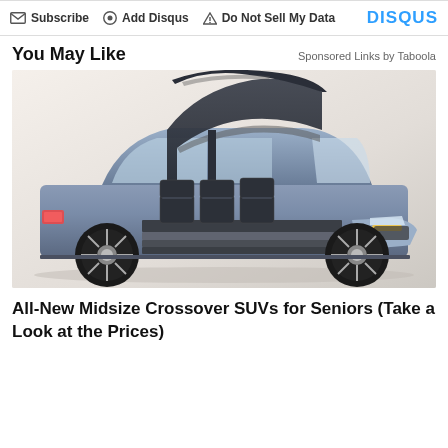Subscribe  Add Disqus  Do Not Sell My Data  DISQUS
You May Like
Sponsored Links by Taboola
[Figure (photo): Blue/grey luxury SUV (Lincoln Navigator concept) with gull-wing doors open wide, revealing rows of plush leather seats and retractable steps, photographed on a light beige background.]
All-New Midsize Crossover SUVs for Seniors (Take a Look at the Prices)